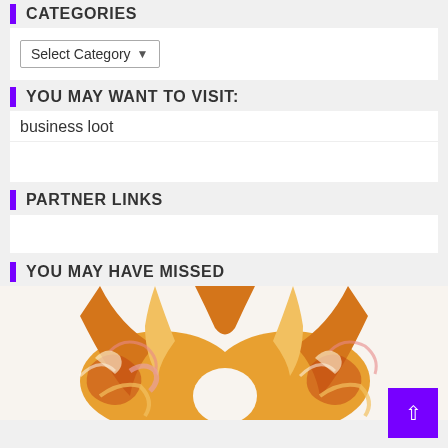CATEGORIES
Select Category
YOU MAY WANT TO VISIT:
business loot
PARTNER LINKS
YOU MAY HAVE MISSED
[Figure (photo): Product photo of a colorful patterned sports bra / racerback top with orange, yellow, pink and brown swirl pattern]